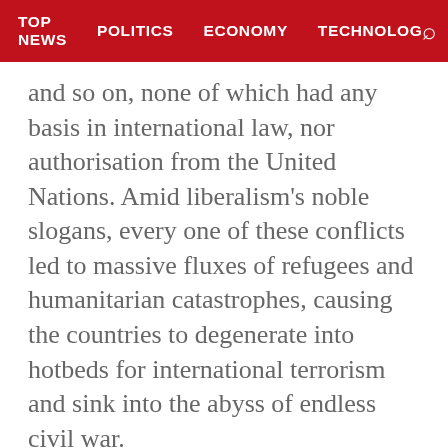TOP NEWS   POLITICS   ECONOMY   TECHNOLOG
and so on, none of which had any basis in international law, nor authorisation from the United Nations. Amid liberalism's noble slogans, every one of these conflicts led to massive fluxes of refugees and humanitarian catastrophes, causing the countries to degenerate into hotbeds for international terrorism and sink into the abyss of endless civil war.
The West does not even have to dirty its own hands. All it has to do is capitalise on the Ukrainians' courage to fight to the death for